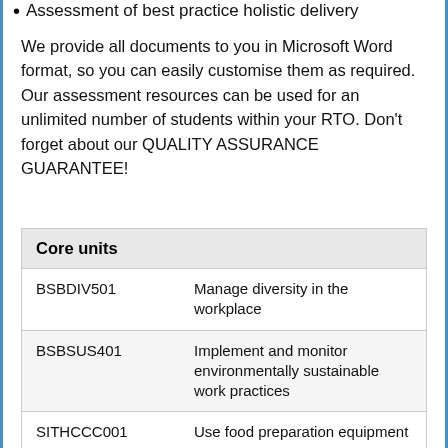Assessment of best practice holistic delivery
We provide all documents to you in Microsoft Word format, so you can easily customise them as required. Our assessment resources can be used for an unlimited number of students within your RTO. Don’t forget about our QUALITY ASSURANCE GUARANTEE!
| Core units |  |
| --- | --- |
| BSBDIV501 | Manage diversity in the workplace |
| BSBSUS401 | Implement and monitor environmentally sustainable work practices |
| SITHCCC001 | Use food preparation equipment |
| SITHCCC005 | Prepare dishes using basic methods of cookery |